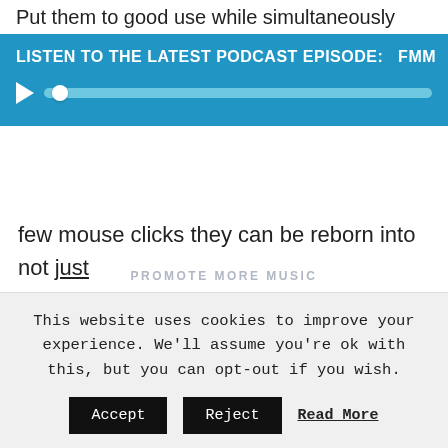Put them to good use while simultaneously
[Figure (screenshot): Podcast player banner with blue background showing 'LISTEN TO THE LATEST PODCAST EPISODE: FMM' and an audio progress bar with play button]
few mouse clicks they can be reborn into not just one but countless new ideas!
This website uses cookies to improve your experience. We'll assume you're ok with this, but you can opt-out if you wish.
Accept   Reject   Read More